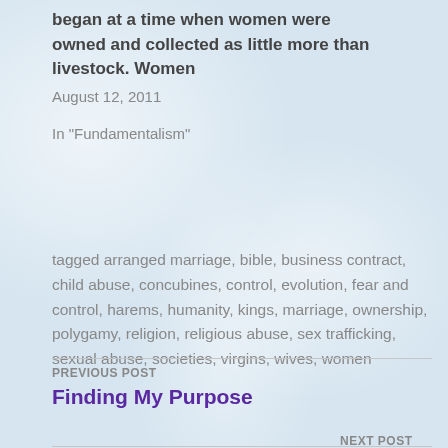began at a time when women were owned and collected as little more than livestock. Women
August 12, 2011
In "Fundamentalism"
tagged arranged marriage, bible, business contract, child abuse, concubines, control, evolution, fear and control, harems, humanity, kings, marriage, ownership, polygamy, religion, religious abuse, sex trafficking, sexual abuse, societies, virgins, wives, women
PREVIOUS POST
Finding My Purpose
NEXT POST